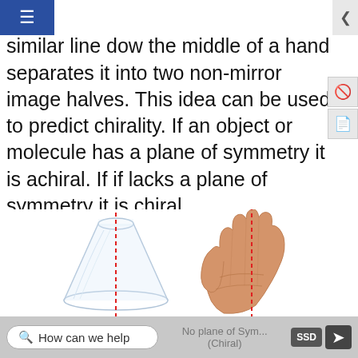rror image halves. However, a similar line down the middle of a hand separates it into two non-mirror image halves. This idea can be used to predict chirality. If an object or molecule has a plane of symmetry it is achiral. If if lacks a plane of symmetry it is chiral.
[Figure (illustration): Left: An Erlenmeyer flask with a vertical red dashed line through its center showing a plane of symmetry (achiral). Right: An open hand (palm facing viewer) with a vertical red dashed line through its middle showing no plane of symmetry (chiral).]
How can we help   No plane of Sym... (Chiral)   SSD